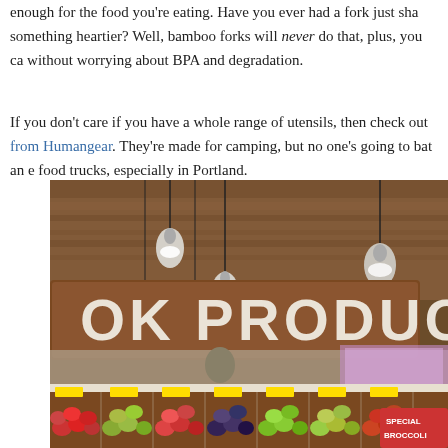enough for the food you're eating. Have you ever had a fork just sha something heartier? Well, bamboo forks will never do that, plus, you ca without worrying about BPA and degradation.
If you don't care if you have a whole range of utensils, then check out from Humangear. They're made for camping, but no one's going to bat an e food trucks, especially in Portland.
[Figure (photo): Interior of a produce market with hanging pendant lights and a large wooden sign reading 'OK PRODUCE'. The foreground shows wooden crates filled with colorful fruits and vegetables including apples, limes, and other produce. Yellow price tags are visible. The ceiling has exposed wooden beams and industrial lighting.]